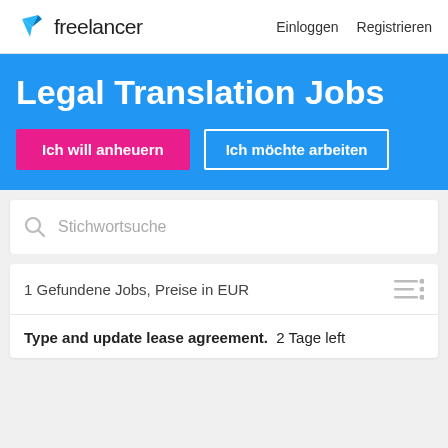freelancer   Einloggen   Registrieren
Legal Translation Jobs
Ich will anheuern   Ich möchte arbeiten
Stichwortsuche
1 Gefundene Jobs, Preise in EUR
Type and update lease agreement.  2 Tage left